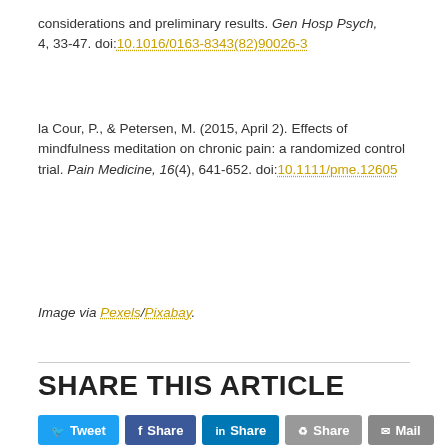considerations and preliminary results. Gen Hosp Psych, 4, 33-47. doi:10.1016/0163-8343(82)90026-3
la Cour, P., & Petersen, M. (2015, April 2). Effects of mindfulness meditation on chronic pain: a randomized control trial. Pain Medicine, 16(4), 641-652. doi:10.1111/pme.12605
Image via Pexels/Pixabay.
SHARE THIS ARTICLE